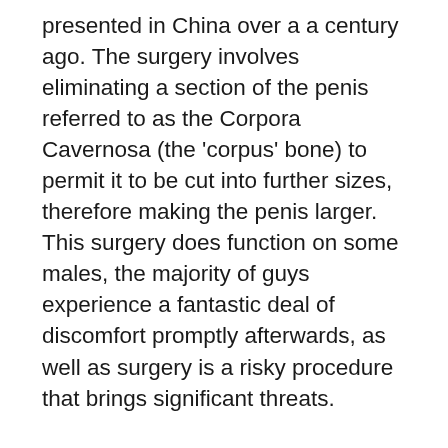presented in China over a a century ago. The surgery involves eliminating a section of the penis referred to as the Corpora Cavernosa (the 'corpus' bone) to permit it to be cut into further sizes, therefore making the penis larger. This surgery does function on some males, the majority of guys experience a fantastic deal of discomfort promptly afterwards, as well as surgery is a risky procedure that brings significant threats.
An additional prominent myth is that shedding extra body hair will certainly make your penis look bigger. This once more is a false claim. Shaving pubic hair will not make your penis look any type of bigger, as well as cutting your testicles will not make your penis look any kind of bigger either. Men